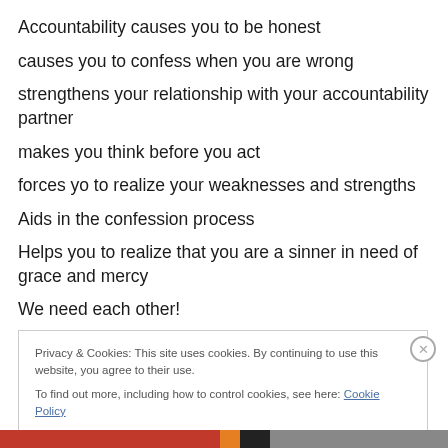Accountability causes you to be honest
causes you to confess when you are wrong
strengthens your relationship with your accountability partner
makes you think before you act
forces yo to realize your weaknesses and strengths
Aids in the confession process
Helps you to realize that you are a sinner in need of grace and mercy
We need each other!
Privacy & Cookies: This site uses cookies. By continuing to use this website, you agree to their use.
To find out more, including how to control cookies, see here: Cookie Policy
Close and accept